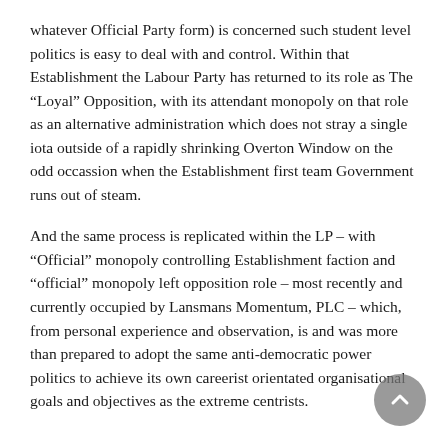whatever Official Party form) is concerned such student level politics is easy to deal with and control. Within that Establishment the Labour Party has returned to its role as The “Loyal” Opposition, with its attendant monopoly on that role as an alternative administration which does not stray a single iota outside of a rapidly shrinking Overton Window on the odd occassion when the Establishment first team Government runs out of steam.
And the same process is replicated within the LP – with “Official” monopoly controlling Establishment faction and “official” monopoly left opposition role – most recently and currently occupied by Lansmans Momentum, PLC – which, from personal experience and observation, is and was more than prepared to adopt the same anti-democratic power politics to achieve its own careerist orientated organisational goals and objectives as the extreme centrists.